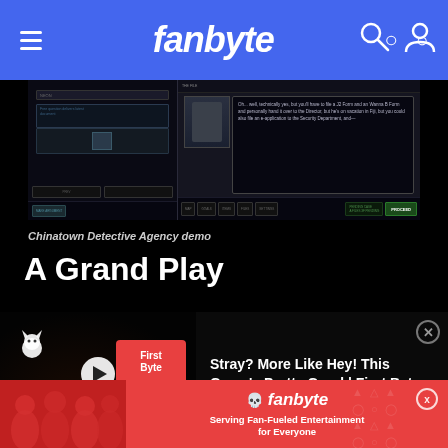fanbyte
[Figure (screenshot): Screenshot of Chinatown Detective Agency video game showing dialogue interface with character portrait and text box]
Chinatown Detective Agency demo
A Grand Play
[Figure (other): Video thumbnail for 'Stray? More Like Hey! This Game's Pretty Good | First Byte' showing a cat with First Byte logo badge and play button]
Stray? More Like Hey! This Game's Pretty Good | First Byte
[Figure (other): Fanbyte advertisement banner with people playing games and text 'Serving Fan-Fueled Entertainment for Everyone']